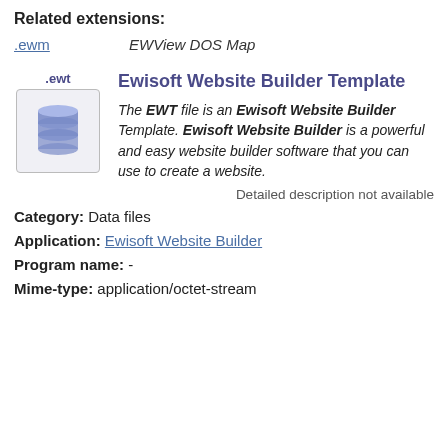Related extensions:
.ewm    EWView DOS Map
Ewisoft Website Builder Template
[Figure (illustration): Database icon for .ewt file type — stacked blue cylinders representing a database, inside a rounded rectangle border. Label '.ewt' appears above the icon.]
The EWT file is an Ewisoft Website Builder Template. Ewisoft Website Builder is a powerful and easy website builder software that you can use to create a website.
Detailed description not available
Category: Data files
Application: Ewisoft Website Builder
Program name: -
Mime-type: application/octet-stream